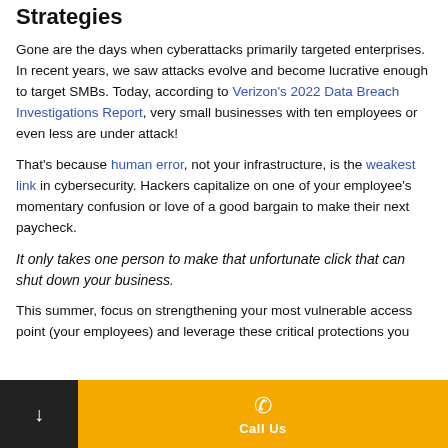Strategies
Gone are the days when cyberattacks primarily targeted enterprises. In recent years, we saw attacks evolve and become lucrative enough to target SMBs. Today, according to Verizon's 2022 Data Breach Investigations Report, very small businesses with ten employees or even less are under attack!
That's because human error, not your infrastructure, is the weakest link in cybersecurity. Hackers capitalize on one of your employee's momentary confusion or love of a good bargain to make their next paycheck.
It only takes one person to make that unfortunate click that can shut down your business.
This summer, focus on strengthening your most vulnerable access point (your employees) and leverage these critical protections you
Call Us